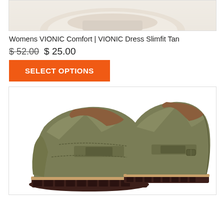[Figure (photo): Top portion of a tan/cream colored shoe product photo, cropped at top]
Womens VIONIC Comfort | VIONIC Dress Slimfit Tan
$ 52.00 $ 25.00
SELECT OPTIONS
[Figure (photo): Olive green patent leather penny loafers with chunky brown lug sole, shown as a pair with one standing upright and one slightly tilted]